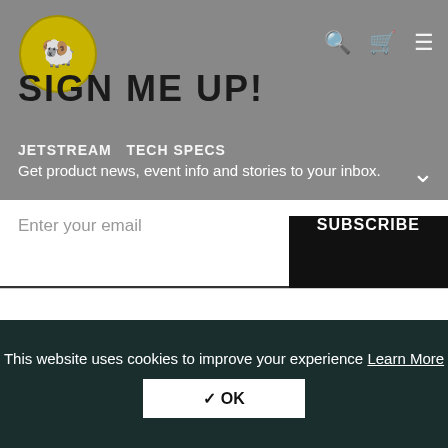SIGN ME UP!
JETSTREAM TECH SPECS
Get product news, event info and stories to your inbox.
Enter your email | SUBSCRIBE
By submitting this form, you consent to sending the above information to Poseidon Diving Systems, which will be stored in Sweden. For a detailed explanation of Poseidon’s collection and use of personal data please see the Privacy Policy.
This website uses cookies to improve your experience Learn More
✓ OK